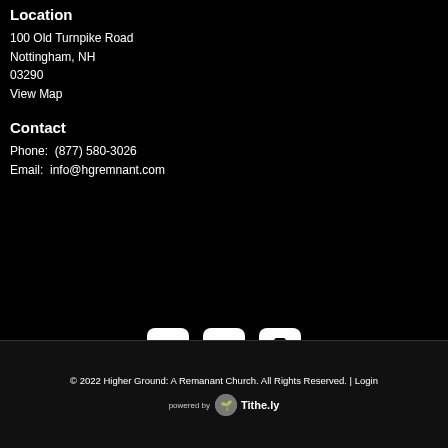Location
100 Old Turnpike Road
Nottingham, NH
03290
View Map
Contact
Phone:  (877) 580-3026
Email:  info@hgremnant.com
[Figure (infographic): Three social media icon buttons: Facebook, YouTube, and a mobile/phone app icon, displayed as white icons on white rounded-rectangle backgrounds.]
© 2022 Higher Ground: A Remanant Church. All Rights Reserved. | Login
powered by Tithe.ly